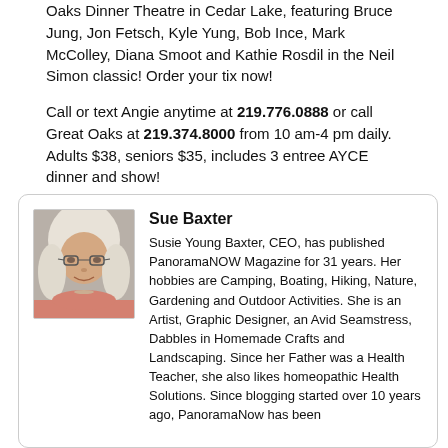Oaks Dinner Theatre in Cedar Lake, featuring Bruce Jung, Jon Fetsch, Kyle Yung, Bob Ince, Mark McColley, Diana Smoot and Kathie Rosdil in the Neil Simon classic! Order your tix now!
Call or text Angie anytime at 219.776.0888 or call Great Oaks at 219.374.8000 from 10 am-4 pm daily. Adults $38, seniors $35, includes 3 entree AYCE dinner and show!
[Figure (photo): Photo of Sue Baxter, a woman with white/blonde hair and glasses, smiling]
Sue Baxter
Susie Young Baxter, CEO, has published PanoramaNOW Magazine for 31 years. Her hobbies are Camping, Boating, Hiking, Nature, Gardening and Outdoor Activities. She is an Artist, Graphic Designer, an Avid Seamstress, Dabbles in Homemade Crafts and Landscaping. Since her Father was a Health Teacher, she also likes homeopathic Health Solutions. Since blogging started over 10 years ago, PanoramaNow has been